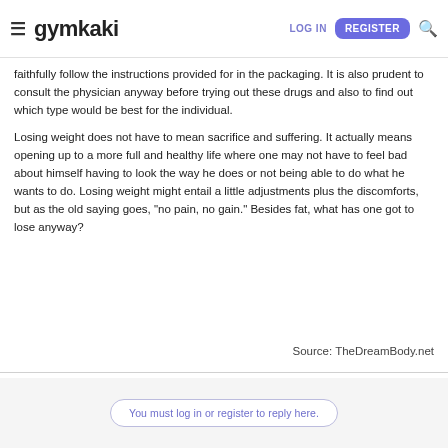gymkaki — LOG IN | REGISTER
faithfully follow the instructions provided for in the packaging. It is also prudent to consult the physician anyway before trying out these drugs and also to find out which type would be best for the individual.
Losing weight does not have to mean sacrifice and suffering. It actually means opening up to a more full and healthy life where one may not have to feel bad about himself having to look the way he does or not being able to do what he wants to do. Losing weight might entail a little adjustments plus the discomforts, but as the old saying goes, "no pain, no gain." Besides fat, what has one got to lose anyway?
Source: TheDreamBody.net
You must log in or register to reply here.